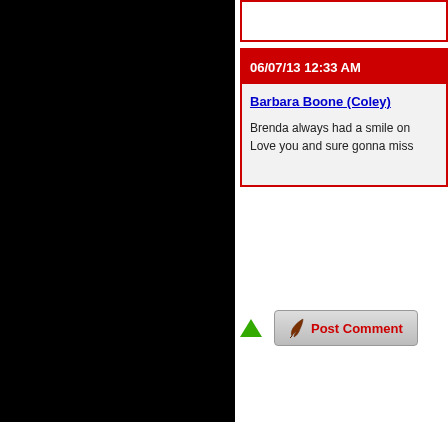[Figure (photo): Large black rectangular panel on the left side of the page]
06/07/13 12:33 AM
Barbara Boone (Coley)
Brenda always had a smile on
Love you and sure gonna miss
[Figure (other): Post Comment button with quill icon and green up arrow]